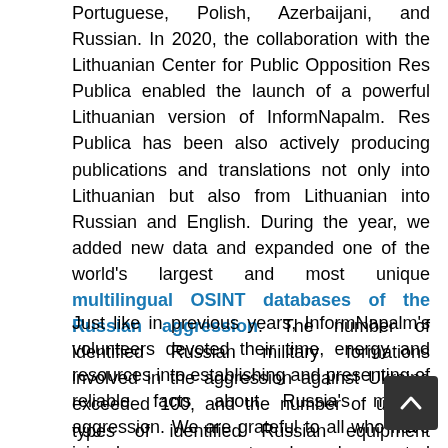Portuguese, Polish, Azerbaijani, and Russian. In 2020, the collaboration with the Lithuanian Center for Public Opposition Res Publica enabled the launch of a powerful Lithuanian version of InformNapalm. Res Publica has been also actively producing publications and translations not only into Lithuanian but also from Lithuanian into Russian and English. During the year, we added new data and expanded one of the world's largest and most unique multilingual OSINT databases of the Russian aggression. The number of identified Russian military formations involved in the aggression against Ukraine exceeded 100, and the number of unique types of identified Russian equipment topped 50.
Just like in previous years, InformNapalm's volunteers devoted their time, energy and resources into establishing and presenting of reliable facts about Russia's military aggression. We are grateful to all who have joined our common struggle and supported the "flame of information that conquers darkness". Let us now briefly review some of the materials and